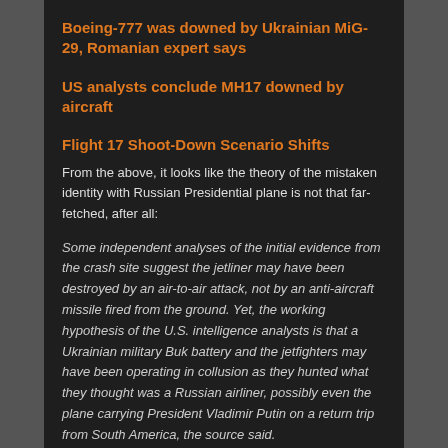Boeing-777 was downed by Ukrainian MiG-29, Romanian expert says
US analysts conclude MH17 downed by aircraft
Flight 17 Shoot-Down Scenario Shifts
From the above, it looks like the theory of the mistaken identity with Russian Presidential plane is not that far-fetched, after all:
Some independent analyses of the initial evidence from the crash site suggest the jetliner may have been destroyed by an air-to-air attack, not by an anti-aircraft missile fired from the ground. Yet, the working hypothesis of the U.S. intelligence analysts is that a Ukrainian military Buk battery and the jetfighters may have been operating in collusion as they hunted what they thought was a Russian airliner, possibly even the plane carrying President Vladimir Putin on a return trip from South America, the source said.